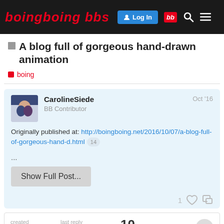boing boing bbs — Log In bb [search] [menu]
A blog full of gorgeous hand-drawn animation
boing
CarolineSiede  BB Contributor  Oct '16
Originally published at: http://boingboing.net/2016/10/07/a-blog-full-of-gorgeous-hand-d.html 14
...
Show Full Post...
1 [like] [link]
created Oct '16  last reply Oct '16  10 replies